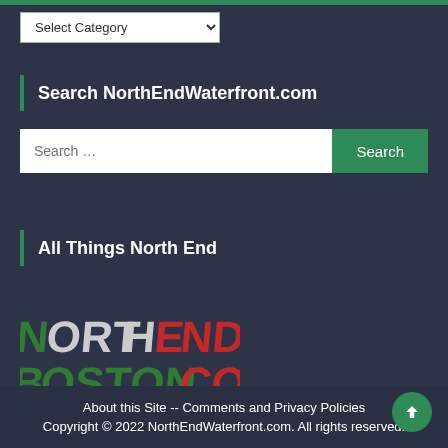[Figure (screenshot): Select Category dropdown at top of sidebar]
Search NorthEndWaterfront.com
[Figure (screenshot): Search input box with Search button]
All Things North End
[Figure (logo): NorthEndBoston.com logo in red, white, and green stylized lettering]
About this Site -- Comments and Privacy Policies
Copyright © 2022 NorthEndWaterfront.com. All rights reserved.